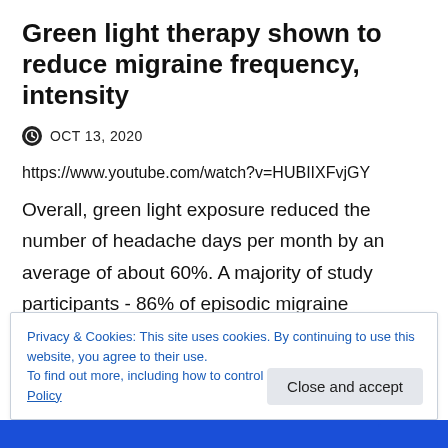Green light therapy shown to reduce migraine frequency, intensity
OCT 13, 2020
https://www.youtube.com/watch?v=HUBIIXFvjGY
Overall, green light exposure reduced the number of headache days per month by an average of about 60%. A majority of study participants - 86% of episodic migraine patients...
Read More
Privacy & Cookies: This site uses cookies. By continuing to use this website, you agree to their use.
To find out more, including how to control cookies, see here: Cookie Policy
Close and accept